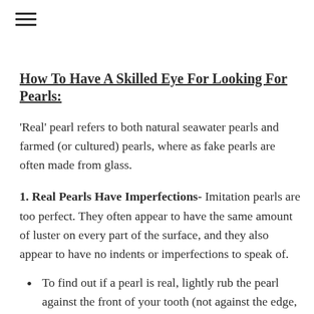≡
How To Have A Skilled Eye For Looking For Pearls:
'Real' pearl refers to both natural seawater pearls and farmed (or cultured) pearls, where as fake pearls are often made from glass.
1. Real Pearls Have Imperfections- Imitation pearls are too perfect. They often appear to have the same amount of luster on every part of the surface, and they also appear to have no indents or imperfections to speak of.
To find out if a pearl is real, lightly rub the pearl against the front of your tooth (not against the edge, as it will scratch the pearl), if the pearl is